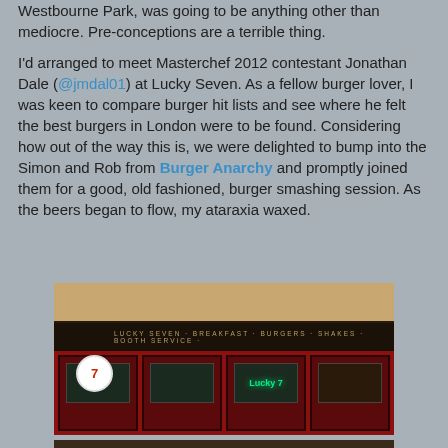Westbourne Park, was going to be anything other than mediocre. Pre-conceptions are a terrible thing.
I'd arranged to meet Masterchef 2012 contestant Jonathan Dale (@jmdal01) at Lucky Seven. As a fellow burger lover, I was keen to compare burger hit lists and see where he felt the best burgers in London were to be found. Considering how out of the way this is, we were delighted to bump into the Simon and Rob from Burger Anarchy and promptly joined them for a good, old fashioned, burger smashing session. As the beers began to flow, my ataraxia waxed.
[Figure (photo): Exterior night photo of Lucky Seven diner/burger restaurant showing red facade with signage reading LUCKY SEVEN BREAKFAST BURGERS SHAKES BOOTH SERVICE, with a circular logo and neon sign visible]
[Figure (photo): Partial photo at bottom of page, interior or food shot, mostly cut off]